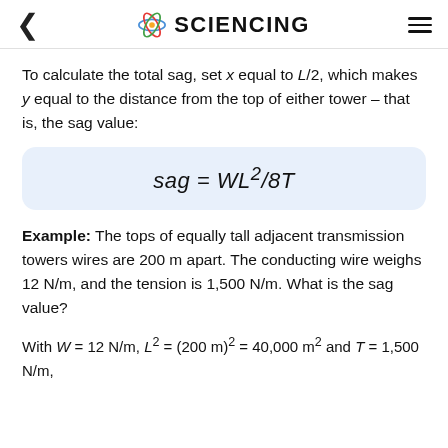SCIENCING
To calculate the total sag, set x equal to L/2, which makes y equal to the distance from the top of either tower – that is, the sag value:
Example: The tops of equally tall adjacent transmission towers wires are 200 m apart. The conducting wire weighs 12 N/m, and the tension is 1,500 N/m. What is the sag value?
With W = 12 N/m, L² = (200 m)² = 40,000 m² and T = 1,500 N/m,